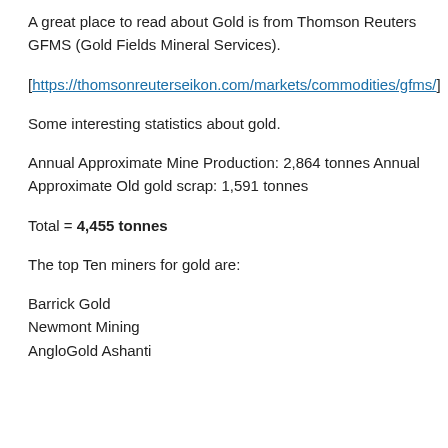A great place to read about Gold is from Thomson Reuters GFMS (Gold Fields Mineral Services).
[https://thomsonreuterseikon.com/markets/commodities/gfms/]
Some interesting statistics about gold.
Annual Approximate Mine Production: 2,864 tonnes Annual Approximate Old gold scrap: 1,591 tonnes
Total = 4,455 tonnes
The top Ten miners for gold are:
Barrick Gold
Newmont Mining
AngloGold Ashanti